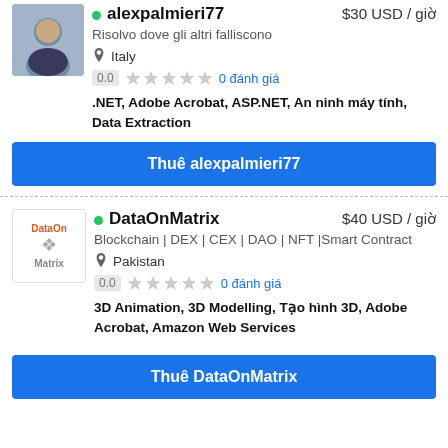alexpalmieri77 — $30 USD / giờ
Risolvo dove gli altri falliscono
Italy
0.0  0 đánh giá
.NET, Adobe Acrobat, ASP.NET, An ninh máy tính, Data Extraction
Thuê alexpalmieri77
DataOnMatrix — $40 USD / giờ
Blockchain | DEX | CEX | DAO | NFT |Smart Contract
Pakistan
0.0  0 đánh giá
3D Animation, 3D Modelling, Tạo hình 3D, Adobe Acrobat, Amazon Web Services
Thuê DataOnMatrix